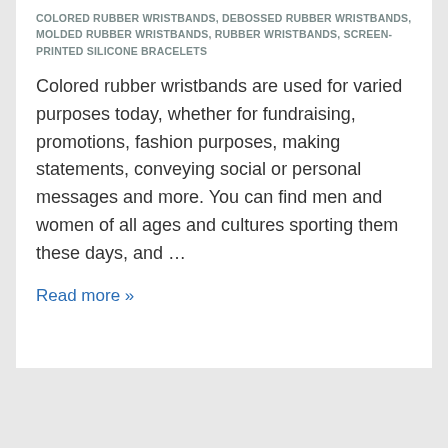COLORED RUBBER WRISTBANDS, DEBOSSED RUBBER WRISTBANDS, MOLDED RUBBER WRISTBANDS, RUBBER WRISTBANDS, SCREEN-PRINTED SILICONE BRACELETS
Colored rubber wristbands are used for varied purposes today, whether for fundraising, promotions, fashion purposes, making statements, conveying social or personal messages and more. You can find men and women of all ages and cultures sporting them these days, and …
Read more »